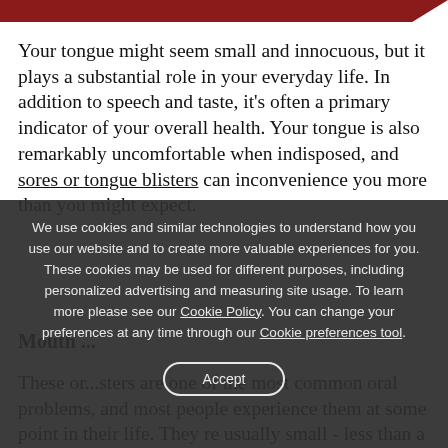[Figure (other): Dark red banner at the top of the page, partially cropped, with a diagonal right edge]
Your tongue might seem small and innocuous, but it plays a substantial role in your everyday life. In addition to speech and taste, it's often a primary indicator of your overall health. Your tongue is also remarkably uncomfortable when indisposed, and sores or tongue blisters can inconvenience you more than you might expect.
Mouth ...
These or...sters are one of the most common oral problems, and most people experience them at some point in their life. They re usually small - less than a third of an inch wide - and form on the inside surface of
We use cookies and similar technologies to understand how you use our website and to create more valuable experiences for you. These cookies may be used for different purposes, including personalized advertising and measuring site usage. To learn more please see our Cookie Policy. You can change your preferences at any time through our Cookie preferences tool.
Accept